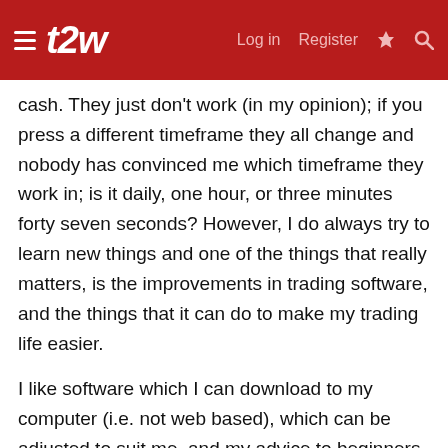t2w | Log in | Register
cash. They just don't work (in my opinion); if you press a different timeframe they all change and nobody has convinced me which timeframe they work in; is it daily, one hour, or three minutes forty seven seconds? However, I do always try to learn new things and one of the things that really matters, is the improvements in trading software, and the things that it can do to make my trading life easier.
I like software which I can download to my computer (i.e. not web based), which can be adjusted to suit me, and my advice to beginners is to learn your platform backwards to reap and benefit from the rewards. Firstly, I don't like software or brokers which intercept your trades with a